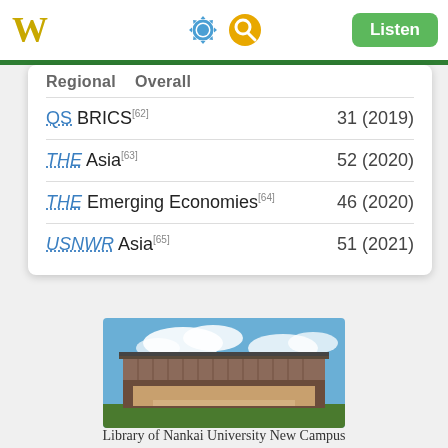W [Wikipedia logo] Listen
| Regional | Overall |
| --- | --- |
| QS BRICS[62] | 31 (2019) |
| THE Asia[63] | 52 (2020) |
| THE Emerging Economies[64] | 46 (2020) |
| USNWR Asia[65] | 51 (2021) |
[Figure (photo): Library of Nankai University New Campus building exterior under blue sky with clouds]
Library of Nankai University New Campus